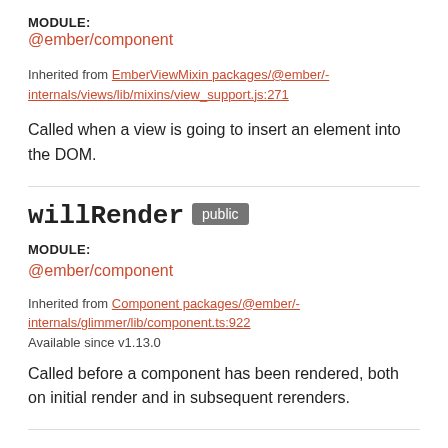MODULE:
@ember/component
Inherited from EmberViewMixin packages/@ember/-internals/views/lib/mixins/view_support.js:271
Called when a view is going to insert an element into the DOM.
willRender public
MODULE:
@ember/component
Inherited from Component packages/@ember/-internals/glimmer/lib/component.ts:922
Available since v1.13.0
Called before a component has been rendered, both on initial render and in subsequent rerenders.